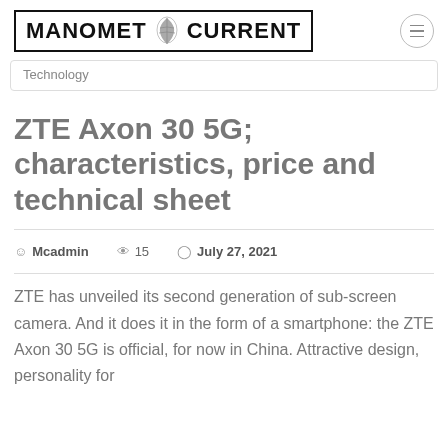MANOMET CURRENT
Technology
ZTE Axon 30 5G; characteristics, price and technical sheet
Mcadmin   15   July 27, 2021
ZTE has unveiled its second generation of sub-screen camera. And it does it in the form of a smartphone: the ZTE Axon 30 5G is official, for now in China. Attractive design, personality for